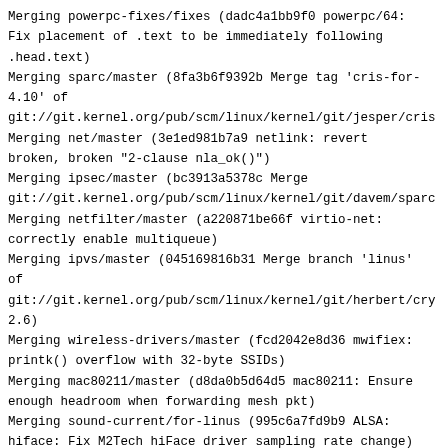Merging powerpc-fixes/fixes (dadc4a1bb9f0 powerpc/64: Fix placement of .text to be immediately following .head.text)
Merging sparc/master (8fa3b6f9392b Merge tag 'cris-for-4.10' of git://git.kernel.org/pub/scm/linux/kernel/git/jesper/cris
Merging net/master (3e1ed981b7a9 netlink: revert broken, broken "2-clause nla_ok()")
Merging ipsec/master (bc3913a5378c Merge git://git.kernel.org/pub/scm/linux/kernel/git/davem/sparc
Merging netfilter/master (a220871be66f virtio-net: correctly enable multiqueue)
Merging ipvs/master (045169816b31 Merge branch 'linus' of git://git.kernel.org/pub/scm/linux/kernel/git/herbert/cry 2.6)
Merging wireless-drivers/master (fcd2042e8d36 mwifiex: printk() overflow with 32-byte SSIDs)
Merging mac80211/master (d8da0b5d64d5 mac80211: Ensure enough headroom when forwarding mesh pkt)
Merging sound-current/for-linus (995c6a7fd9b9 ALSA: hiface: Fix M2Tech hiFace driver sampling rate change)
Merging pci-current/for-linus (e42010d8207f PCI: Set Read Completion Boundary to 128 iff Root Port supports it (_HPX))
Merging driver-core.current/driver-core-linus (cdb98c2698b4 Revert "nvme: add support for the Write Zeroes command")
Merging tty.current/tty-linus (cdb98c2698b4 Revert "nvme: add support for the Write Zeroes command")